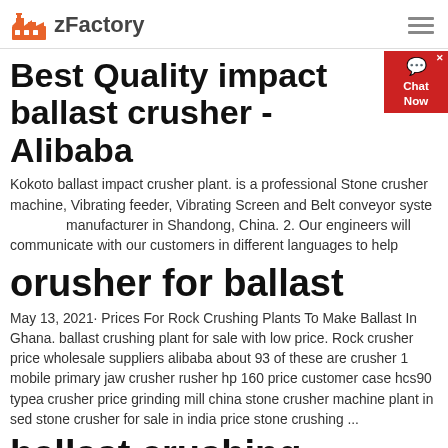zFactory
Best Quality impact ballast crusher - Alibaba
Kokoto ballast impact crusher plant. is a professional Stone crusher machine, Vibrating feeder, Vibrating Screen and Belt conveyor system manufacturer in Shandong, China. 2. Our engineers will communicate with our customers in different languages to help
orusher for ballast
May 13, 2021· Prices For Rock Crushing Plants To Make Ballast In Ghana. ballast crushing plant for sale with low price. Rock crusher price wholesale suppliers alibaba about 93 of these are crusher 1 mobile primary jaw crusher rusher hp 160 price customer case hcs90 typea crusher price grinding mill china stone crusher machine plant in sed stone crusher for sale in india price stone crushing ...
ballast crushing machine for